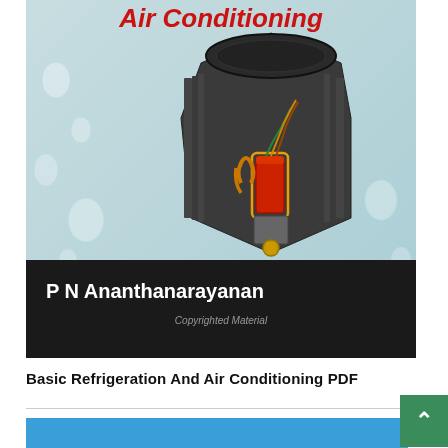[Figure (photo): Book cover for 'Refrigeration and Air Conditioning' by P N Ananthanarayanan. Cover shows a light blue background with water droplets and a cutaway view of an HVAC/air conditioning unit in gray/dark metal with visible internal components including copper tubing, capacitor, and wiring. Bottom section has a dark black bar with the author's name in white and 'Copyrighted Material' text. The title at top is in bold red italic text.]
Basic Refrigeration And Air Conditioning PDF